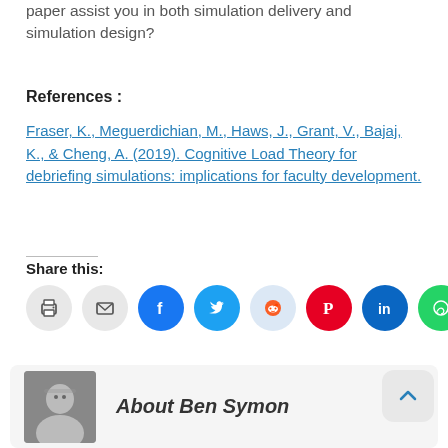paper assist you in both simulation delivery and simulation design?
References :
Fraser, K., Meguerdichian, M., Haws, J., Grant, V., Bajaj, K., & Cheng, A. (2019). Cognitive Load Theory for debriefing simulations: implications for faculty development.
Share this:
[Figure (infographic): Row of social share icon buttons: print, email, Facebook, Twitter, Reddit, Pinterest, LinkedIn, WhatsApp]
[Figure (photo): Black and white headshot photo of Ben Symon, a man wearing glasses]
About Ben Symon